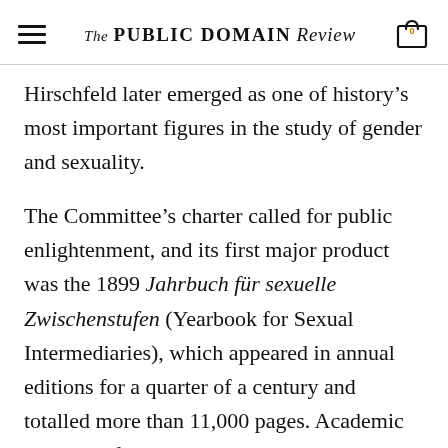The PUBLIC DOMAIN REVIEW
Hirschfeld later emerged as one of history's most important figures in the study of gender and sexuality.
The Committee's charter called for public enlightenment, and its first major product was the 1899 Jahrbuch für sexuelle Zwischenstufen (Yearbook for Sexual Intermediaries), which appeared in annual editions for a quarter of a century and totalled more than 11,000 pages. Academic in tone, it forthrightly claimed homosexuality to be in-born, tracked the development of a corresponding